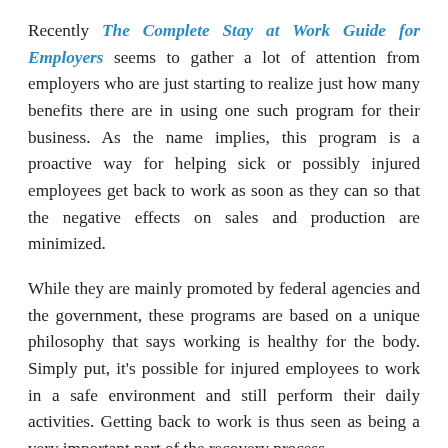Recently The Complete Stay at Work Guide for Employers seems to gather a lot of attention from employers who are just starting to realize just how many benefits there are in using one such program for their business. As the name implies, this program is a proactive way for helping sick or possibly injured employees get back to work as soon as they can so that the negative effects on sales and production are minimized.
While they are mainly promoted by federal agencies and the government, these programs are based on a unique philosophy that says working is healthy for the body. Simply put, it's possible for injured employees to work in a safe environment and still perform their daily activities. Getting back to work is thus seen as being a very important part of the recovery process.